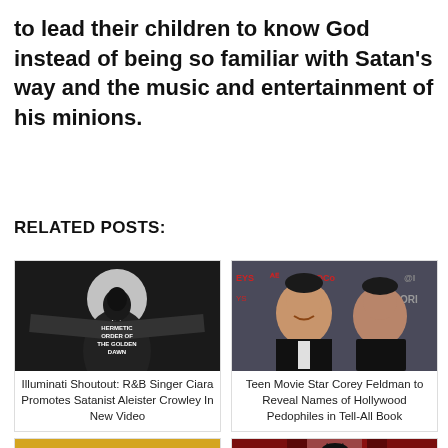to lead their children to know God instead of being so familiar with Satan's way and the music and entertainment of his minions.
RELATED POSTS:
[Figure (photo): Black and white photo of a figure in a hooded robe with arms outstretched, text on robe reads 'XIV HERMETIC ORDER OF THE GOLDEN DAWN']
Illuminati Shoutout: R&B Singer Ciara Promotes Satanist Aleister Crowley In New Video
[Figure (photo): Color photo of two men (Teen Movie Star Corey Feldman) at an event with logos in background]
Teen Movie Star Corey Feldman to Reveal Names of Hollywood Pedophiles in Tell-All Book
[Figure (photo): Book cover or graphic with large text reading 'LIVING BIBLICALLY' in yellow/gold on dark background]
[Figure (photo): Photo of a woman with a crown-like headpiece in front of red curtains]